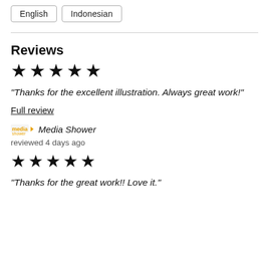English
Indonesian
Reviews
[Figure (other): Five black star rating icons]
"Thanks for the excellent illustration. Always great work!"
Full review
[Figure (logo): Media Shower company logo (small orange/yellow icon)]
Media Shower
reviewed 4 days ago
[Figure (other): Five black star rating icons]
"Thanks for the great work!! Love it."